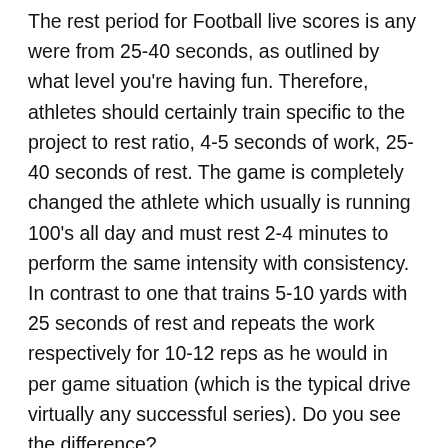The rest period for Football live scores is any were from 25-40 seconds, as outlined by what level you're having fun. Therefore, athletes should certainly train specific to the project to rest ratio, 4-5 seconds of work, 25-40 seconds of rest. The game is completely changed the athlete which usually is running 100's all day and must rest 2-4 minutes to perform the same intensity with consistency. In contrast to one that trains 5-10 yards with 25 seconds of rest and repeats the work respectively for 10-12 reps as he would in per game situation (which is the typical drive virtually any successful series). Do you see the difference?
With brand new strain technology come many questions. For example, is there anywhere you wouldn't like high speed internet access? Some don't want access to start